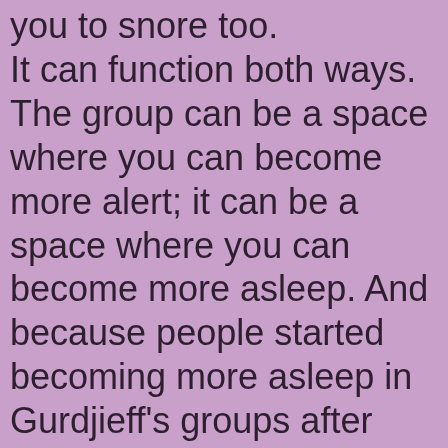you to snore too. It can function both ways. The group can be a space where you can become more alert; it can be a space where you can become more asleep. And because people started becoming more asleep in Gurdjieff's groups after Gurdjieff's death, those groups have disappeared. People have moved alone. But alone you cannot do those methods. This